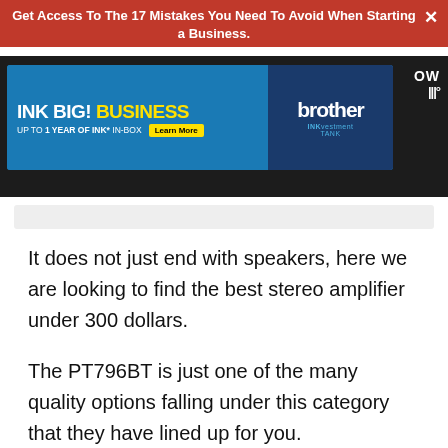Get Access To The 17 Mistakes You Need To Avoid When Starting a Business.
[Figure (screenshot): Brother INK BIG! BUSINESS advertisement banner. UP TO 1 YEAR OF INK* IN-BOX. Learn More. Brother INKvestment TANK logo.]
It does not just end with speakers, here we are looking to find the best stereo amplifier under 300 dollars.
The PT796BT is just one of the many quality options falling under this category that they have lined up for you.
Whether you are looking inward or at the outside of